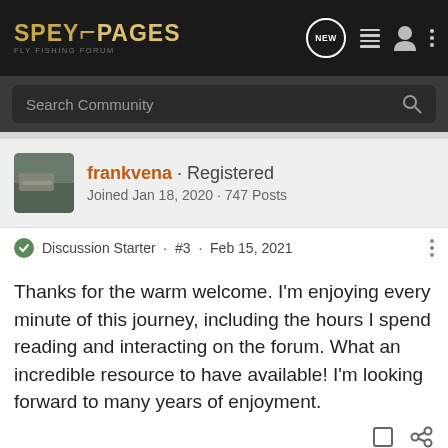[Figure (logo): SpeyPages logo in dark nav bar with gold/yellow text]
Search Community
frankvena · Registered
Joined Jan 18, 2020 · 747 Posts
Discussion Starter · #3 · Feb 15, 2021
Thanks for the warm welcome. I'm enjoying every minute of this journey, including the hours I spend reading and interacting on the forum. What an incredible resource to have available! I'm looking forward to many years of enjoyment.